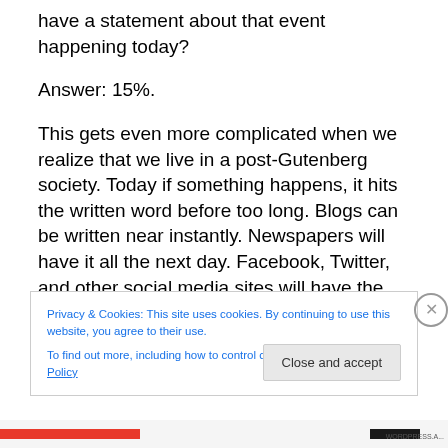have a statement about that event happening today?
Answer: 15%.
This gets even more complicated when we realize that we live in a post-Gutenberg society. Today if something happens, it hits the written word before too long. Blogs can be written near instantly. Newspapers will have it all the next day. Facebook, Twitter, and other social media sites will have the news everywhere. It will show up on the major news networks as well and even with pictures in many of these places. Why? Because we have the means
Privacy & Cookies: This site uses cookies. By continuing to use this website, you agree to their use.
To find out more, including how to control cookies, see here: Cookie Policy
Close and accept